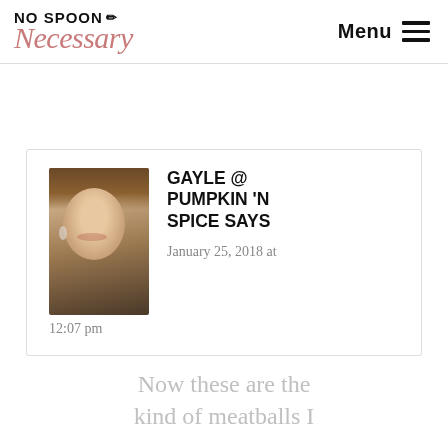NO SPOON Necessary — Menu
[Figure (photo): Profile photo of Gayle, a smiling woman with shoulder-length hair and hoop earrings]
GAYLE @ PUMPKIN 'N SPICE SAYS
January 25, 2018 at 12:07 pm
Now these are the kind of meatballs I